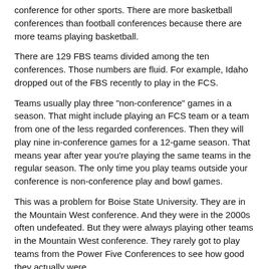conference for other sports. There are more basketball conferences than football conferences because there are more teams playing basketball.
There are 129 FBS teams divided among the ten conferences. Those numbers are fluid. For example, Idaho dropped out of the FBS recently to play in the FCS.
Teams usually play three "non-conference" games in a season. That might include playing an FCS team or a team from one of the less regarded conferences. Then they will play nine in-conference games for a 12-game season. That means year after year you're playing the same teams in the regular season. The only time you play teams outside your conference is non-conference play and bowl games.
This was a problem for Boise State University. They are in the Mountain West conference. And they were in the 2000s often undefeated. But they were always playing other teams in the Mountain West conference. They rarely got to play teams from the Power Five Conferences to see how good they actually were.